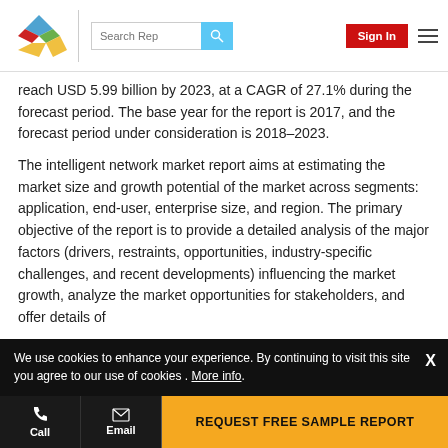Search Rep | Sign In | [nav menu]
reach USD 5.99 billion by 2023, at a CAGR of 27.1% during the forecast period. The base year for the report is 2017, and the forecast period under consideration is 2018–2023.
The intelligent network market report aims at estimating the market size and growth potential of the market across segments: application, end-user, enterprise size, and region. The primary objective of the report is to provide a detailed analysis of the major factors (drivers, restraints, opportunities, industry-specific challenges, and recent developments) influencing the market growth, analyze the market opportunities for stakeholders, and offer details of
We use cookies to enhance your experience. By continuing to visit this site you agree to our use of cookies . More info.
Call | Email | REQUEST FREE SAMPLE REPORT